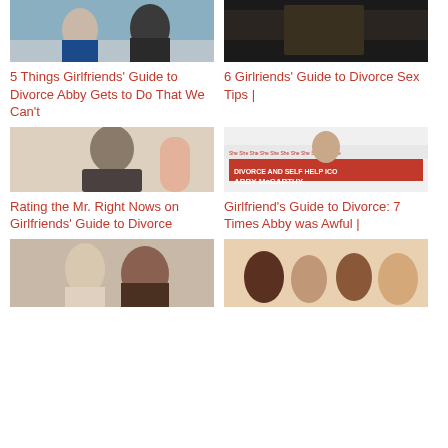[Figure (photo): Two people posing outdoors, woman in blue dress and man in dark jacket]
5 Things Girlfriends' Guide to Divorce Abby Gets to Do That We Can't
[Figure (photo): Dark scene, person lying down or in car]
6 Girlriends' Guide to Divorce Sex Tips |
[Figure (photo): Man with dark hair in a gym setting, wearing dark t-shirt]
Rating the Mr. Right Nows on Girlfriends' Guide to Divorce
[Figure (photo): Woman at a booth with a sign reading DIVORCE AND SELF HELP ICON ABBY McCARTHY with She branding]
Girlfriend's Guide to Divorce: 7 Times Abby was Awful |
[Figure (photo): Two people laughing, one with long dark hair]
[Figure (photo): Group of women laughing and smiling together]